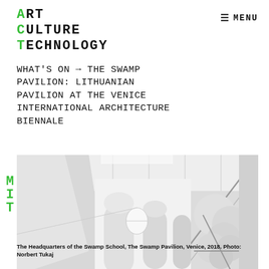ART CULTURE TECHNOLOGY
MENU
WHAT'S ON → THE SWAMP PAVILION: LITHUANIAN PAVILION AT THE VENICE INTERNATIONAL ARCHITECTURE BIENNALE
[Figure (photo): Architectural rendering of the interior of The Swamp Pavilion, showing a long corridor with arched openings, sculptural cloud-like forms on the right side, and small vessel-like objects on the floor. Black and white/grayscale image.]
The Headquarters of the Swamp School, The Swamp Pavilion, Venice, 2018. Photo: Norbert Tukaj